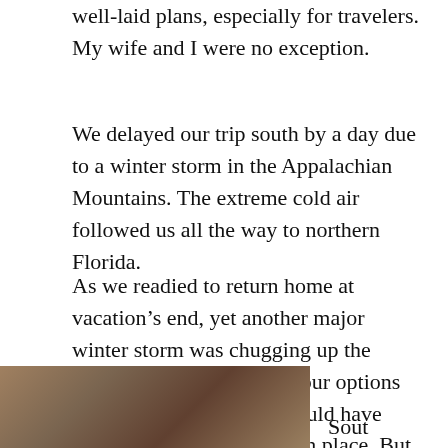well-laid plans, especially for travelers. My wife and I were no exception.
We delayed our trip south by a day due to a winter storm in the Appalachian Mountains. The extreme cold air followed us all the way to northern Florida.
As we readied to return home at vacation’s end, yet another major winter storm was chugging up the Ohio Valley. We weighed our options about our return trip. It would have been delightful to remain in place. But we needed to return home. It was time.
[Figure (photo): A partial photo at the bottom left of the page, partially cut off. To the right of the photo is the word 'Sout' (likely 'South' or a caption beginning).]